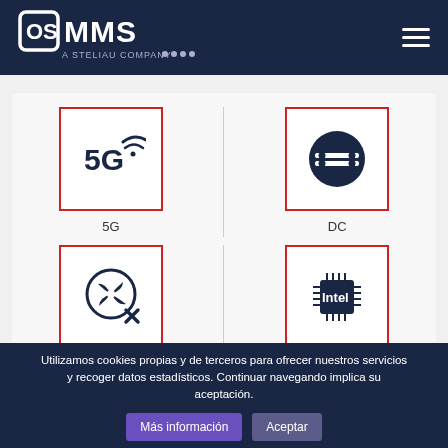OSMMS - A Steliau Company
[Figure (infographic): Four product category icons in a 2x2 grid: 5G (wireless icon), DC (datacenter/connector icon), Sin ventilación (fanless/no cooling icon), Intel (processor chip icon). Each icon is inside a red-bordered white box with a label below.]
5G
DC
Sin ventilación
Intel
Utilizamos cookies propias y de terceros para ofrecer nuestros servicios y recoger datos estadísticos. Continuar navegando implica su aceptación.
Más información
Aceptar